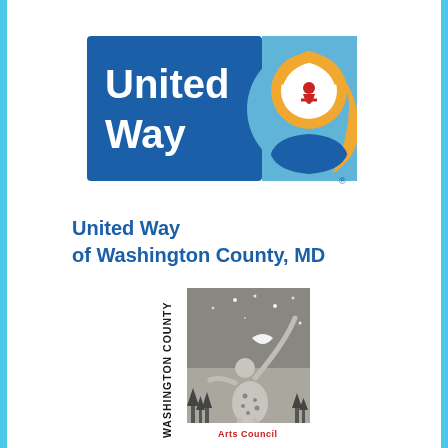[Figure (logo): United Way logo: blue rectangle with white 'United Way' text on the left, and a light blue square on the right featuring the United Way rainbow/sun symbol with a hand holding a person figure in orange, blue, and red]
United Way
of Washington County, MD
[Figure (logo): Washington County Arts Council logo: vertical black text 'WASHINGTON COUNTY' on the left side, and a grayscale image of a figure reaching upward toward stars/moon with trees in the background. Red text 'Arts Council' partially visible at bottom.]